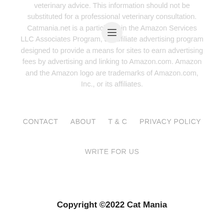veterinary advice. This information should not be substituted for a professional veterinary consultation. Catmania.net is a participant in the Amazon Services LLC Associates Program, an affiliate advertising program designed to provide a means for sites to earn advertising fees by advertising and linking to Amazon.com. Amazon and the Amazon logo are trademarks of Amazon.com, Inc., or its affiliates.
CONTACT   ABOUT   T & C   PRIVACY POLICY
WRITE FOR US
Copyright ©2022 Cat Mania